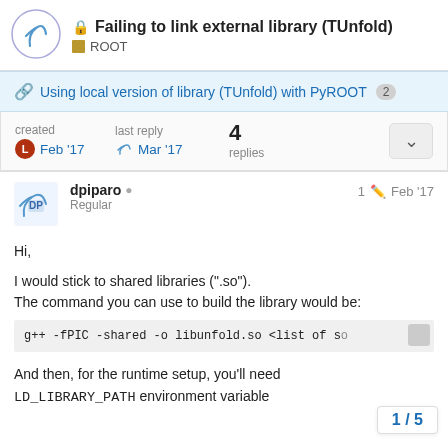Failing to link external library (TUnfold) — ROOT
Using local version of library (TUnfold) with PyROOT 2
created Feb '17  last reply Mar '17  4 replies
dpiparo  Regular   1  Feb '17
Hi,
I would stick to shared libraries (".so").
The command you can use to build the library would be:
g++ -fPIC -shared -o libunfold.so <list of so
And then, for the runtime setup, you'll need
LD_LIBRARY_PATH environment variable
1 / 5